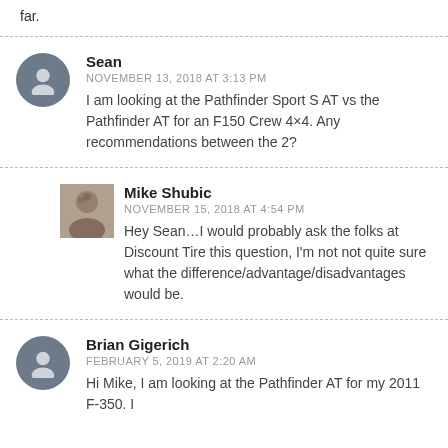far.
Sean
NOVEMBER 13, 2018 AT 3:13 PM
I am looking at the Pathfinder Sport S AT vs the Pathfinder AT for an F150 Crew 4×4. Any recommendations between the 2?
Mike Shubic
NOVEMBER 15, 2018 AT 4:54 PM
Hey Sean…I would probably ask the folks at Discount Tire this question, I'm not not quite sure what the difference/advantage/disadvantages would be.
Brian Gigerich
FEBRUARY 5, 2019 AT 2:20 AM
Hi Mike, I am looking at the Pathfinder AT for my 2011 F-350. I